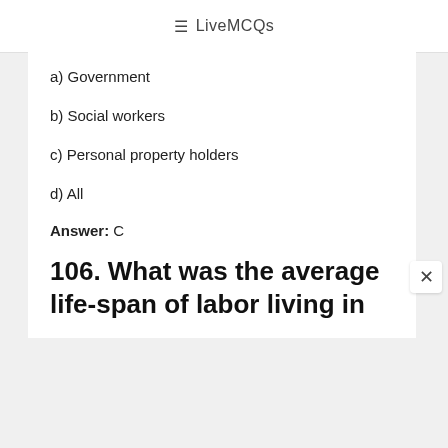≡ LiveMCQs
a) Government
b) Social workers
c) Personal property holders
d) All
Answer: C
106. What was the average life-span of labor living in